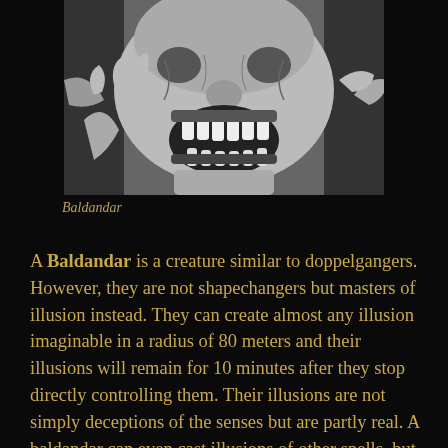[Figure (illustration): Black and white illustration of Baldandar, a grotesque creature with a wide open mouth showing large jagged teeth, distorted face, and clawed hands visible at the edges.]
Baldandar
A Baldandar is a creature similar to doppelgangers. However, they are not shapechangers but masters of illusion instead. They can create almost any illusion imaginable in a radius of 80 meters and their illusions will remain for 10 minutes after they stop directly controlling them. Their illusions are not simply deceptions of the senses but are partly real. A baldandar can even cast illusions of other spells, but creatures targeted by them can